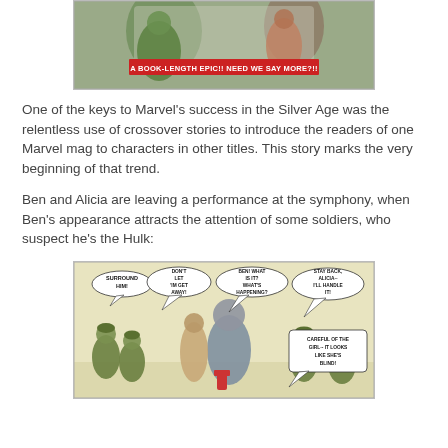[Figure (illustration): Top portion of a Marvel comic book cover showing the Hulk and other characters with a red banner reading 'A BOOK-LENGTH EPIC!! NEED WE SAY MORE?!!']
One of the keys to Marvel's success in the Silver Age was the relentless use of crossover stories to introduce the readers of one Marvel mag to characters in other titles. This story marks the very beginning of that trend.
Ben and Alicia are leaving a performance at the symphony, when Ben's appearance attracts the attention of some soldiers, who suspect he's the Hulk:
[Figure (illustration): Comic panel showing Ben and Alicia surrounded by soldiers with speech bubbles: 'SURROUND HIM!', 'DON'T LET 'IM GET AWAY!', 'BEN! WHAT IS IT? WHAT'S HAPPENING?', 'STAY BACK, ALICIA-- I'LL HANDLE IT!', 'CAREFUL OF THE GIRL-- IT LOOKS LIKE SHE'S BLIND!']